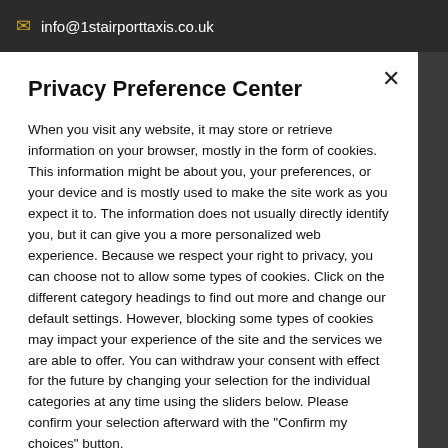info@1stairporttaxis.co.uk
Privacy Preference Center
When you visit any website, it may store or retrieve information on your browser, mostly in the form of cookies. This information might be about you, your preferences, or your device and is mostly used to make the site work as you expect it to. The information does not usually directly identify you, but it can give you a more personalized web experience. Because we respect your right to privacy, you can choose not to allow some types of cookies. Click on the different category headings to find out more and change our default settings. However, blocking some types of cookies may impact your experience of the site and the services we are able to offer. You can withdraw your consent with effect for the future by changing your selection for the individual categories at any time using the sliders below. Please confirm your selection afterward with the "Confirm my choices" button.
Accept All Cookies
Reject All